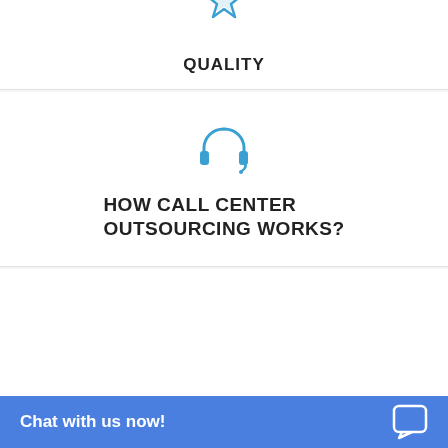[Figure (illustration): Blue star/badge icon for QUALITY section (partially visible at top)]
QUALITY
[Figure (illustration): Blue headset/call center icon]
HOW CALL CENTER OUTSOURCING WORKS?
[Figure (illustration): Blue document/file icon]
CALL CENTER PORTFOLIO
[Figure (illustration): Blue chat bubble/speech icon]
CUSTOMER TESTIMONIALS
Chat with us now!